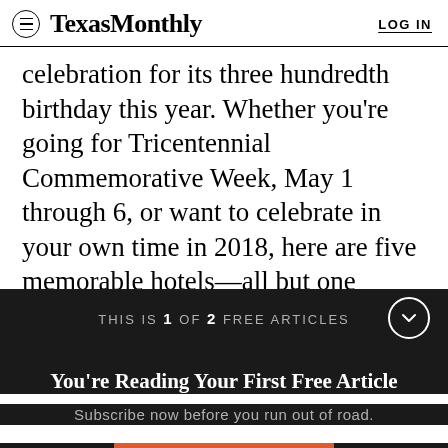TexasMonthly | LOG IN
celebration for its three hundredth birthday this year. Whether you're going for Tricentennial Commemorative Week, May 1 through 6, or want to celebrate in your own time in 2018, here are five memorable hotels—all but one housed in buildings
THIS IS 1 OF 2 FREE ARTICLES
You're Reading Your First Free Article
Subscribe now before you run out of road.
SUBSCRIBE NOW
Already a subscriber? Log in